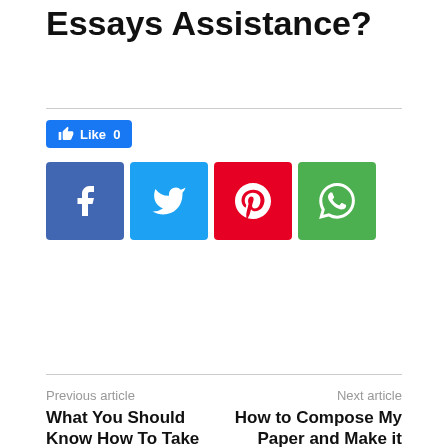Essays Assistance?
[Figure (other): Social sharing buttons: Facebook Like button (count 0), and four social media icon buttons: Facebook (f), Twitter (bird), Pinterest (p), WhatsApp (phone)]
Previous article
What You Should Know How To Take Secure VPN Service For Android To Hide Your IP
Next article
How to Compose My Paper and Make it Large
[Figure (photo): A faint grayscale portrait photo of a person (face partially visible), shown inside a bordered box]